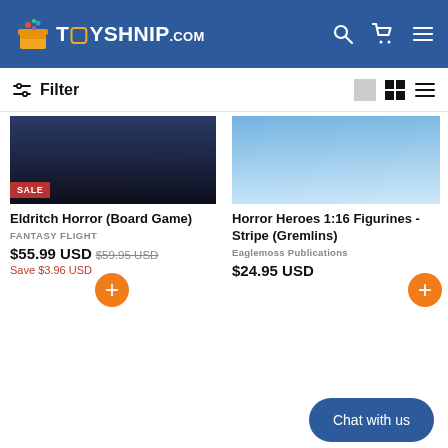TOYSHNIP.COM
Filter
[Figure (screenshot): Product image for Eldritch Horror Board Game with SALE badge]
Eldritch Horror (Board Game)
FANTASY FLIGHT
$55.99 USD  $59.95 USD  Save $3.96 USD
[Figure (screenshot): Product image for Horror Heroes 1:16 Figurines - Stripe (Gremlins)]
Horror Heroes 1:16 Figurines - Stripe (Gremlins)
Eaglemoss Publications
$24.95 USD
SALE
Chat with us